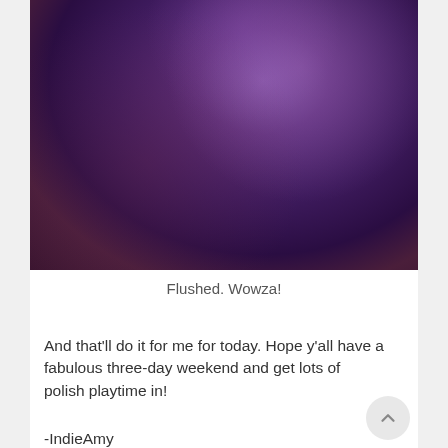[Figure (photo): Close-up macro photograph of deep purple glittery nail polish with shimmer and sparkle effect, showing fine metallic particles in dark violet/purple tones]
Flushed. Wowza!
And that'll do it for me for today. Hope y'all have a fabulous three-day weekend and get lots of polish playtime in!
-IndieAmy